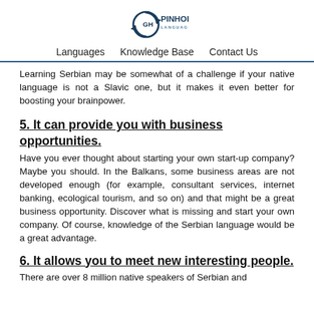[Figure (logo): Pinhok Languages logo with circular arrow icon and text 'GH PINHOK LANGUAGES']
Languages   Knowledge Base   Contact Us
Learning Serbian may be somewhat of a challenge if your native language is not a Slavic one, but it makes it even better for boosting your brainpower.
5. It can provide you with business opportunities.
Have you ever thought about starting your own start-up company? Maybe you should. In the Balkans, some business areas are not developed enough (for example, consultant services, internet banking, ecological tourism, and so on) and that might be a great business opportunity. Discover what is missing and start your own company. Of course, knowledge of the Serbian language would be a great advantage.
6. It allows you to meet new interesting people.
There are over 8 million native speakers of Serbian and